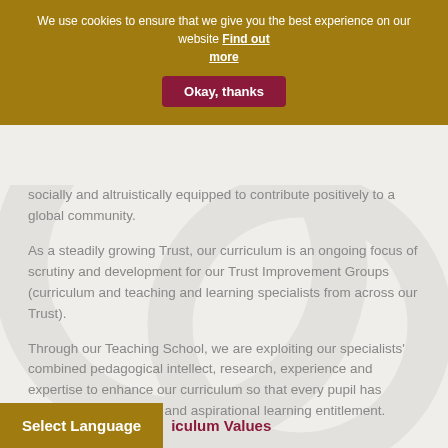We use cookies to ensure that we give you the best experience on our website Find out more
Okay, thanks
socially and altruistically equipped to contribute positively to a global community.
As a steadily growing Trust, our curriculum is an ongoing focus of scrutiny and development for our Trust Improvement Groups (curriculum and teaching and learning specialists from across our Trust).
Through our Teaching School, we are exploiting our specialists' combined pedagogical intellect, research, experience and expertise to enhance our curriculum so that every pupil has access to a consistent and aspirational learning entitlement.
Select Language
iculum Values